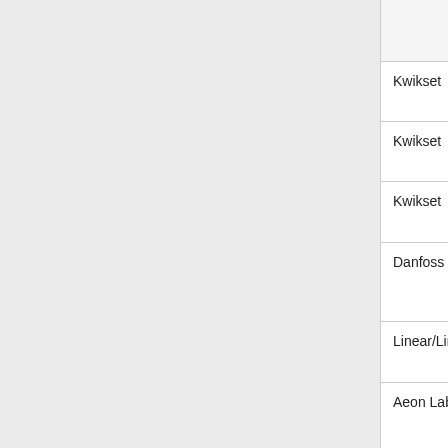| Brand | Model | Type |
| --- | --- | --- |
|  |  | Lamp |
| Kwikset | Kwikset 910TRL ZW | Deadbolt Lock |
| Kwikset | Kwikset 910CNT ZW | Deadbolt Lock |
| Kwikset | Kwikset 914TRL ZW | Deadbolt Lock |
| Danfoss | Living Connect LC-13 | Setpoint radiator therm... |
| Linear/LinearLinc | Bulbz LB60Z | Dimmable LED b... |
| Aeon Labs | Door & Window Sensor - 2nd Edition | Door & Windo Sensor... |
|  | Plug in Smart... | Powe... |